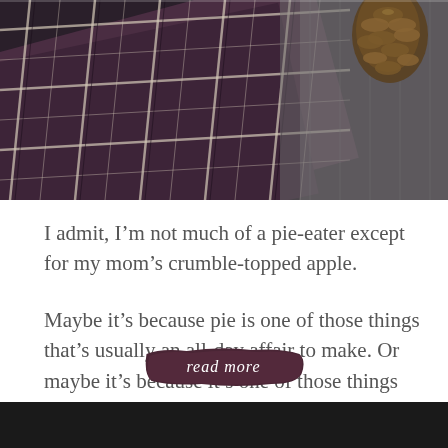[Figure (photo): Dark moody photo of purple and cream plaid fabric with pine cones on a wooden surface]
I admit, I’m not much of a pie-eater except for my mom’s crumble-topped apple.
Maybe it’s because pie is one of those things that’s usually an all-day affair to make. Or maybe it’s because it’s one of those things that’s so easy to mess up one of the components of. In any event, pie just usually isn’t my thing.
[Figure (illustration): Read more button with cursive white text on a dark purple/maroon brushstroke background]